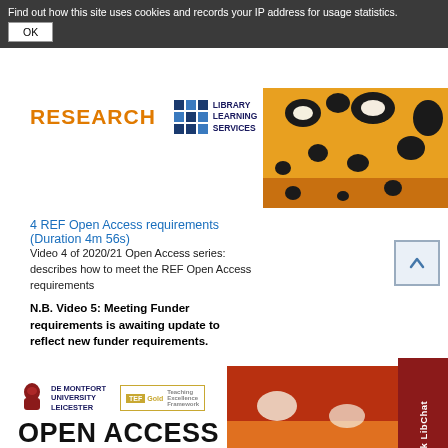Find out how this site uses cookies and records your IP address for usage statistics.
OK
[Figure (photo): Close-up butterfly wing with orange, black and white patterns, top right area]
[Figure (logo): RESEARCH text logo in orange]
[Figure (logo): Library Learning Services logo with blue squares grid icon]
4 REF Open Access requirements (Duration 4m 56s)
Video 4 of 2020/21 Open Access series: describes how to meet the REF Open Access requirements
N.B. Video 5: Meeting Funder requirements is awaiting update to reflect new funder requirements.
[Figure (screenshot): Bottom thumbnail with De Montfort University Leicester logo, TEF Gold badge, OPEN ACCESS heading, YOUR RESPONSIBILITIES AND OURS, FURTHER INFORMATION text, and butterfly wing photo on right side]
Just Ask LibChat